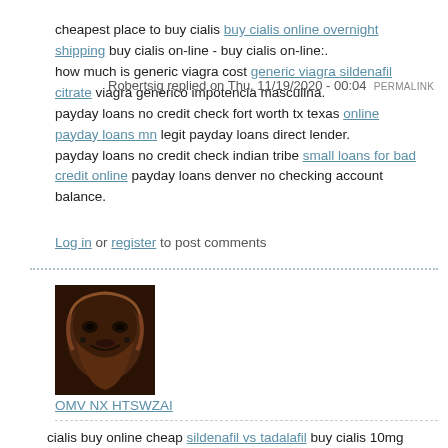cheapest place to buy cialis buy cialis online overnight shipping buy cialis on-line - buy cialis on-line:.
how much is generic viagra cost generic viagra sildenafil citrate viagra generico impotencia masculina.
payday loans no credit check fort worth tx texas online payday loans mn legit payday loans direct lender.
payday loans no credit check indian tribe small loans for bad credit online payday loans denver no checking account balance.
Log in or register to post comments
[Figure (photo): Avatar image showing a dark, artistic face portrait with reddish-brown tones]
Robertsig replied on Thu, 11/19/2020 - 00:04 PERMALINK
OMV NX HTSWZAI
cialis buy online cheap sildenafil vs tadalafil buy cialis 10mg online.
buy generic viagra online usa pharmacy  buy generic viagra online usa